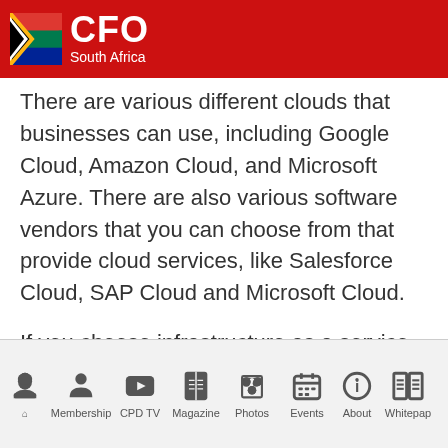CFO South Africa
There are various different clouds that businesses can use, including Google Cloud, Amazon Cloud, and Microsoft Azure. There are also various software vendors that you can choose from that provide cloud services, like Salesforce Cloud, SAP Cloud and Microsoft Cloud.
If you choose infrastructure as a service (IaaS), it is only the infrastructure that is in the cloud, that is the servers and databases. If you choose platform as a service (PaaS), you are also sending the operating
Home | Membership | CPD TV | Magazine | Photos | Events | About | Whitepaper